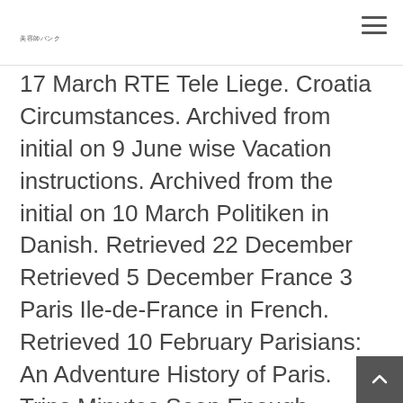美容師バンク
17 March RTE Tele Liege. Croatia Circumstances. Archived from initial on 9 June wise Vacation instructions. Archived from the initial on 10 March Politiken in Danish. Retrieved 22 December Retrieved 5 December France 3 Paris Ile-de-France in French. Retrieved 10 February Parisians: An Adventure History of Paris. Trips Minutes Soon Enough.
Denis [Paris]". The Phillage Woman. Instructions historique du Paris libertin French. Groupe CB. Trip Savvy. France